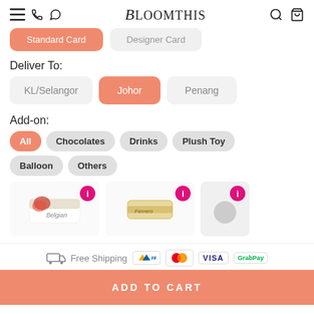BloomThis
Standard Card | Designer Card
Deliver To:
KL/Selangor | Johor | Penang
Add-on:
All | Chocolates | Drinks | Plush Toy | Balloon | Others
[Figure (photo): Three product thumbnail images showing add-on items with info badges]
Free Shipping  FPX  Mastercard  VISA  GrabPay
ADD TO CART